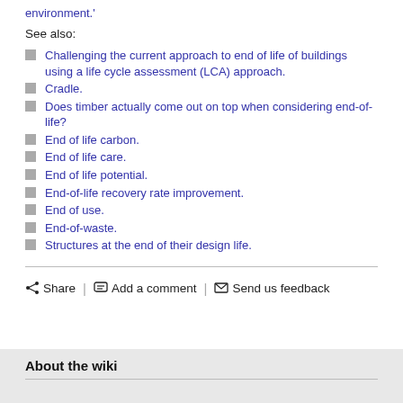environment.'
See also:
Challenging the current approach to end of life of buildings using a life cycle assessment (LCA) approach.
Cradle.
Does timber actually come out on top when considering end-of-life?
End of life carbon.
End of life care.
End of life potential.
End-of-life recovery rate improvement.
End of use.
End-of-waste.
Structures at the end of their design life.
Share | Add a comment | Send us feedback
About the wiki